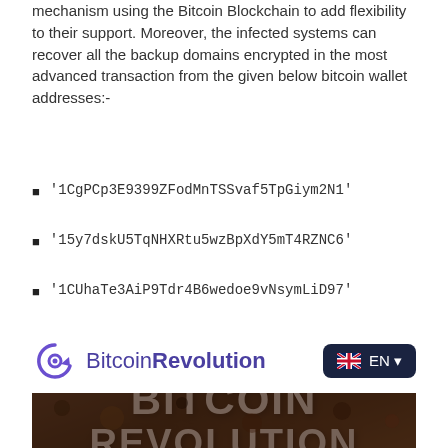mechanism using the Bitcoin Blockchain to add flexibility to their support. Moreover, the infected systems can recover all the backup domains encrypted in the most advanced transaction from the given below bitcoin wallet addresses:-
'1CgPCp3E9399ZFodMnTSSvaf5TpGiym2N1'
'15y7dskU5TqNHXRtu5wzBpXdY5mT4RZNC6'
'1CUhaTe3AiP9Tdr4B6wedoe9vNsymLiD97'
[Figure (logo): BitcoinRevolution logo with circular arrow icon and EN language selector button]
[Figure (photo): Dark soil background with large white bold text reading BITCOIN REVOLUTION]